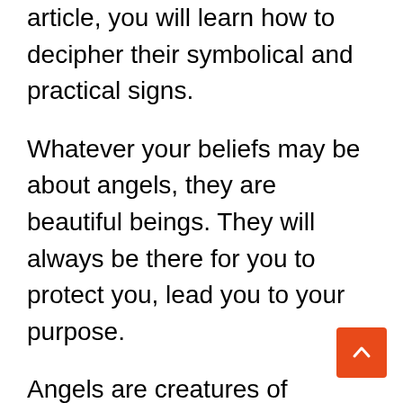article, you will learn how to decipher their symbolical and practical signs.
Whatever your beliefs may be about angels, they are beautiful beings. They will always be there for you to protect you, lead you to your purpose.
Angels are creatures of paradise. They are non-physical beings. The sole purpose of their existence is to guide and support humankind. This is why the Almighty created the angels. The angels live to look